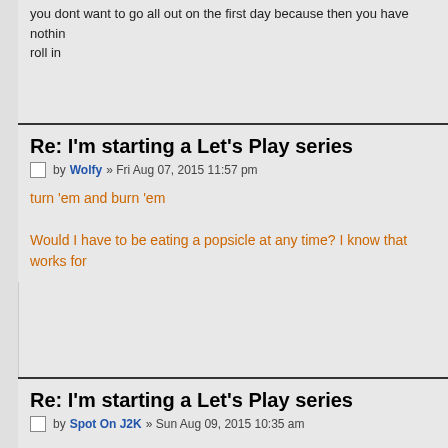you dont want to go all out on the first day because then you have nothing roll in
Re: I'm starting a Let's Play series
by Wolfy » Fri Aug 07, 2015 11:57 pm
turn 'em and burn 'em

Would I have to be eating a popsicle at any time? I know that works for
Re: I'm starting a Let's Play series
by Spot On J2K » Sun Aug 09, 2015 10:35 am